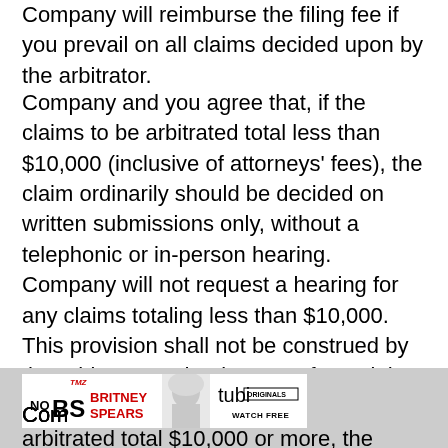Company will reimburse the filing fee if you prevail on all claims decided upon by the arbitrator.
Company and you agree that, if the claims to be arbitrated total less than $10,000 (inclusive of attorneys' fees), the claim ordinarily should be decided on written submissions only, without a telephonic or in-person hearing. Company will not request a hearing for any claims totaling less than $10,000. This provision shall not be construed by the arbitrator to deprive you of any rights you may have to a telephonic or in-person hearing in your hometown area pursuant to the JAMS Rules.
[Figure (infographic): Advertisement banner for TMZ 'No BS Britney Spears' show on Tubi Originals, featuring bold red text and a photo of Britney Spears with Watch Free tagline]
arbitrated total $10,000 or more, the arbitration will